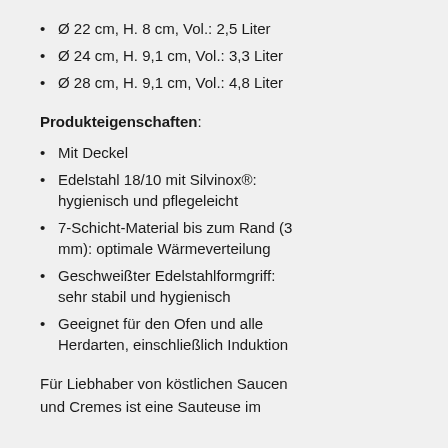Ø 22 cm, H. 8 cm, Vol.: 2,5 Liter
Ø 24 cm, H. 9,1 cm, Vol.: 3,3 Liter
Ø 28 cm, H. 9,1 cm, Vol.: 4,8 Liter
Produkteigenschaften:
Mit Deckel
Edelstahl 18/10 mit Silvinox®: hygienisch und pflegeleicht
7-Schicht-Material bis zum Rand (3 mm): optimale Wärmeverteilung
Geschweißter Edelstahlformgriff: sehr stabil und hygienisch
Geeignet für den Ofen und alle Herdarten, einschließlich Induktion
Für Liebhaber von köstlichen Saucen und Cremes ist eine Sauteuse im